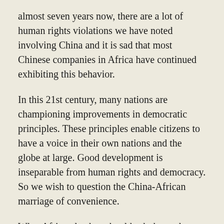almost seven years now, there are a lot of human rights violations we have noted involving China and it is sad that most Chinese companies in Africa have continued exhibiting this behavior.
In this 21st century, many nations are championing improvements in democratic principles. These principles enable citizens to have a voice in their own nations and the globe at large. Good development is inseparable from human rights and democracy. So we wish to question the China-African marriage of convenience.
What African leaders should ask themselves is, do China's kind of governance system promote the freedom of its citizens? In as much we want economic development it is so much important for